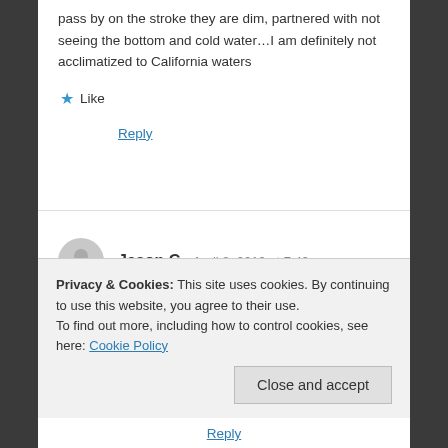pass by on the stroke they are dim, partnered with not seeing the bottom and cold water…I am definitely not acclimatized to California waters
Like
Reply
Jason C  April 8, 2019 at 7:49 pm
Me and my brother have this fear that when we're swimming in the ocean or river or any big mass of water, we can not let our feet just dangle straight
Privacy & Cookies: This site uses cookies. By continuing to use this website, you agree to their use.
To find out more, including how to control cookies, see here: Cookie Policy
Close and accept
Reply